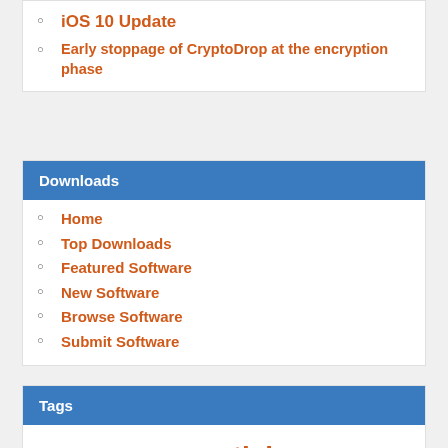iOS 10 Update
Early stoppage of CryptoDrop at the encryption phase
Downloads
Home
Top Downloads
Featured Software
New Software
Browse Software
Submit Software
Tags
Adobe Android antispyware antivirus apple application Ashampoo backup Browser data discount disk Facebook file Files firefox firewall folder free Google Google chrome internet Internet Security Kaspersky Mac